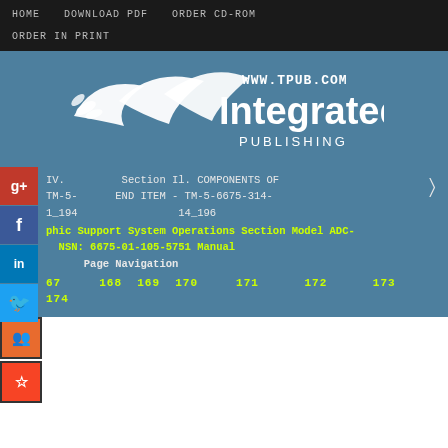HOME   DOWNLOAD PDF   ORDER CD-ROM   ORDER IN PRINT
[Figure (logo): Integrated Publishing logo with stylized bird/wing graphic and text 'WWW.TPUB.COM Integrated PUBLISHING' on steel blue background]
IV.   Section Il. COMPONENTS OF TM-5-  END ITEM - TM-5-6675-314-1_194   14_196
phic Support System Operations Section Model ADC- NSN: 6675-01-105-5751 Manual
Page Navigation
67   168   169   170   171   172   173   174